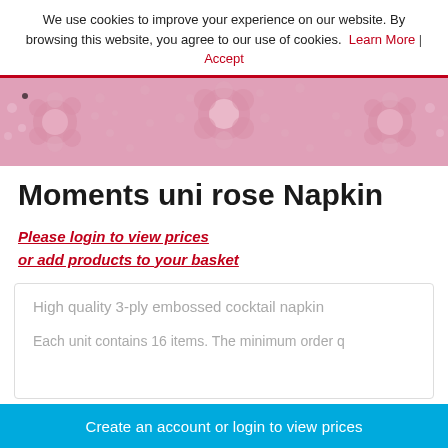We use cookies to improve your experience on our website. By browsing this website, you agree to our use of cookies. Learn More | Accept
[Figure (photo): Pink embossed cocktail napkin with decorative floral/bubble pattern texture]
Moments uni rose Napkin
Please login to view prices or add products to your basket
High quality 3-ply embossed cocktail napkin
Each unit contains 16 items. The minimum order q
Create an account or login to view prices